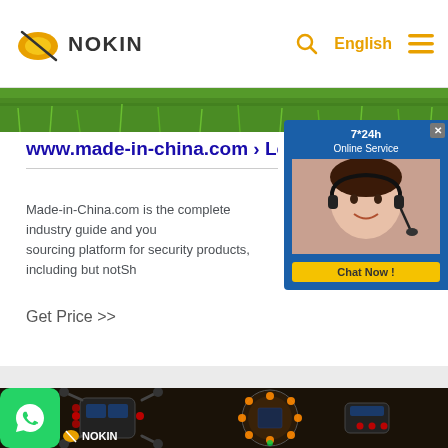NOKIN — www.nokin.com | English
[Figure (screenshot): Green grass background image band at top of page]
[Figure (infographic): Live chat widget overlay: '7*24h Online Service' with agent photo and 'Chat Now!' button]
www.made-in-china.com › Led_Road_Stu
Made-in-China.com is the complete industry guide and you sourcing platform for security products, including but notSh
Get Price >>
[Figure (photo): Product photo showing LED road studs including solar-powered flashing road markers with red and orange LEDs, dark background, 'NOKIN' branding visible]